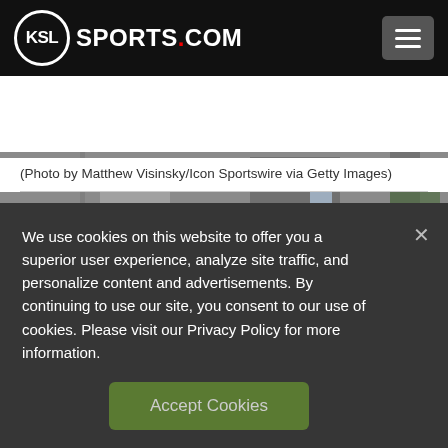KSL SPORTS.COM
[Figure (photo): Partial photo showing people standing, one wearing a lanyard/credential badge]
(Photo by Matthew Visinsky/Icon Sportswire via Getty Images)
BY TREVOR ALLEN, KSL SPORTS
KSL Sports
We use cookies on this website to offer you a superior user experience, analyze site traffic, and personalize content and advertisements. By continuing to use our site, you consent to our use of cookies. Please visit our Privacy Policy for more information.
Accept Cookies